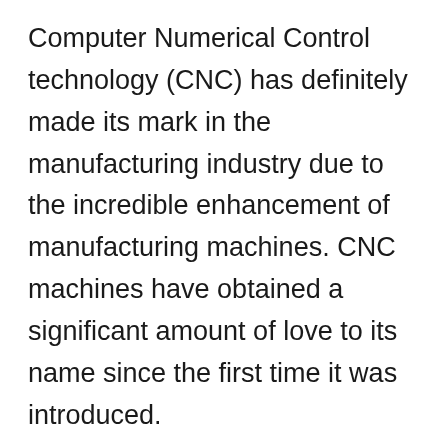Computer Numerical Control technology (CNC) has definitely made its mark in the manufacturing industry due to the incredible enhancement of manufacturing machines. CNC machines have obtained a significant amount of love to its name since the first time it was introduced.
Instead of using different machines for one part of a production, and heavy hours for the labor which was mostly overworked and underpaid, CNC machines have brought about a positive change in the operational